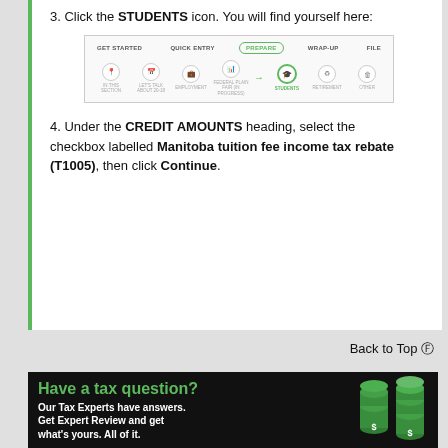3. Click the STUDENTS icon. You will find yourself here:
[Figure (screenshot): Tax software navigation screenshot showing steps: GET STARTED, QUICK ENTRY, PREPARE (active/highlighted in green circle), WRAP-UP, FILE. Below are icons for: IN THIS SECTION, LET'S TALK ABOUT 20-18, EMPLOYMENT, FEDERAL PLAN FAIR (IN PROGRESS), STUDENTS (highlighted with green circle and arrow), RETIREMENT, OTHER.]
4. Under the CREDIT AMOUNTS heading, select the checkbox labelled Manitoba tuition fee income tax rebate (T1005), then click Continue.
Back to Top ⊕
[Figure (infographic): Black banner advertisement: 'Have a tax question? Our Tax Experts have answers. Get Expert Review and get what's yours. All of it.' with green coin stack graphics on the right showing dollar sign coins.]